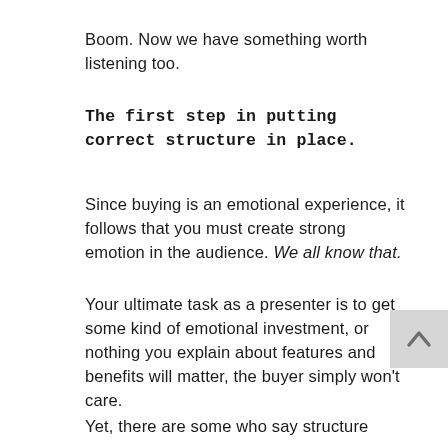Boom. Now we have something worth listening too.
The first step in putting correct structure in place.
Since buying is an emotional experience, it follows that you must create strong emotion in the audience. We all know that.
Your ultimate task as a presenter is to get some kind of emotional investment, or nothing you explain about features and benefits will matter, the buyer simply won't care.
Yet, there are some who say structure